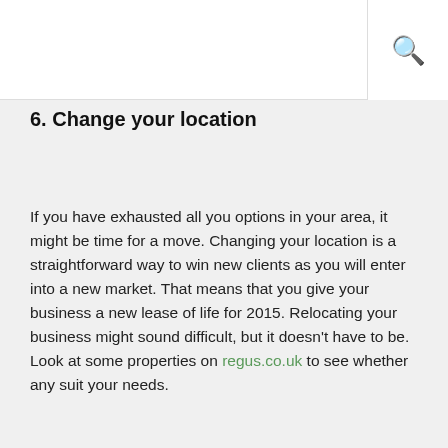6. Change your location
If you have exhausted all you options in your area, it might be time for a move. Changing your location is a straightforward way to win new clients as you will enter into a new market. That means that you give your business a new lease of life for 2015. Relocating your business might sound difficult, but it doesn't have to be. Look at some properties on regus.co.uk to see whether any suit your needs.